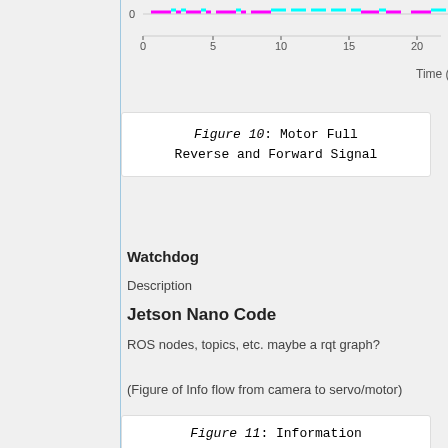[Figure (continuous-plot): Partial chart showing x-axis labels 0, 5, 10, 15, 20 with Time (m) label, and colored signal data (magenta/cyan dashes) near y=0]
Figure 10: Motor Full Reverse and Forward Signal
Watchdog
Description
Jetson Nano Code
ROS nodes, topics, etc. maybe a rqt graph?
(Figure of Info flow from camera to servo/motor)
Figure 11: Information Flow from Camera to Steering and Throttle